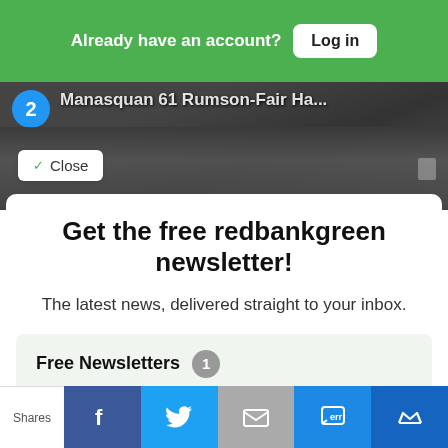Already have an account? Log in
[Figure (screenshot): Video thumbnail showing volleyball players, text 'Manasquan 61 Rumson-Fair Ha...' with a blue circle numbered 2]
Close
Get the free redbankgreen newsletter!
The latest news, delivered straight to your inbox.
Free Newsletters 1
Daily Newsletter
Latest news and updates
Shares